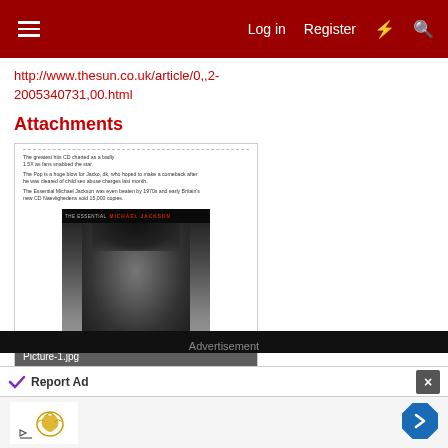Log in   Register
http://www.thesun.co.uk/article/0,,2-2005340731,00.html
Attachments
[Figure (photo): Screenshot of a newspaper article attachment showing blurred text and a black-and-white album cover image of Michael Jackson with the label 'Picture-1.jpg' overlaid at the bottom]
Advertisement
Report Ad